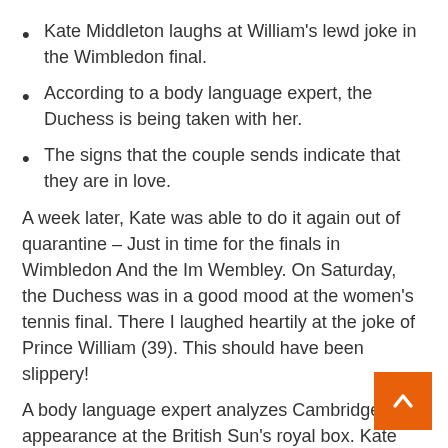Kate Middleton laughs at William's lewd joke in the Wimbledon final.
According to a body language expert, the Duchess is being taken with her.
The signs that the couple sends indicate that they are in love.
A week later, Kate was able to do it again out of quarantine – Just in time for the finals in Wimbledon And the Im Wembley. On Saturday, the Duchess was in a good mood at the women's tennis final. There I laughed heartily at the joke of Prince William (39). This should have been slippery!
A body language expert analyzes Cambridge's appearance at the British Sun's royal box. Kate Middleton (39) and Prince William They're clearly in